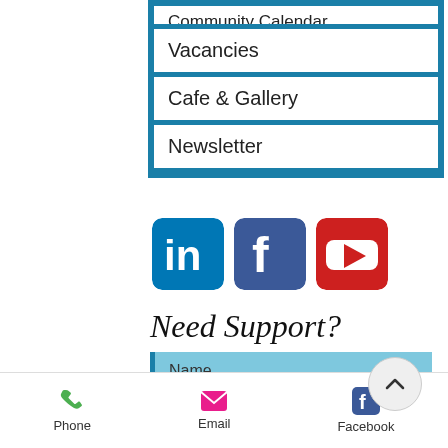Community Calendar (partial, cut off at top)
Vacancies
Cafe & Gallery
Newsletter
[Figure (logo): LinkedIn, Facebook, and YouTube social media icons]
Need Support?
Name (form field)
Email (form field)
Phone   Email   Facebook